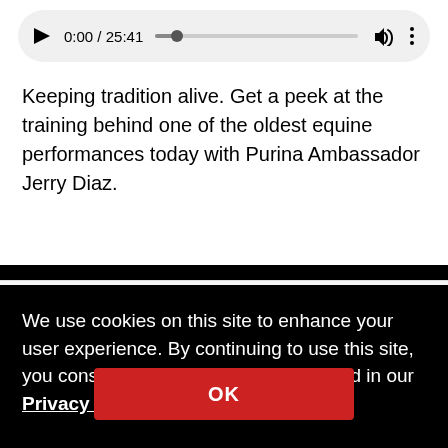[Figure (screenshot): Audio player bar showing play button, time 0:00 / 25:41, progress bar, volume icon, and more options dots]
Keeping tradition alive. Get a peek at the training behind one of the oldest equine performances today with Purina Ambassador Jerry Diaz.
We use cookies on this site to enhance your user experience. By continuing to use this site, you consent to our cookies as described in our Privacy Policy.